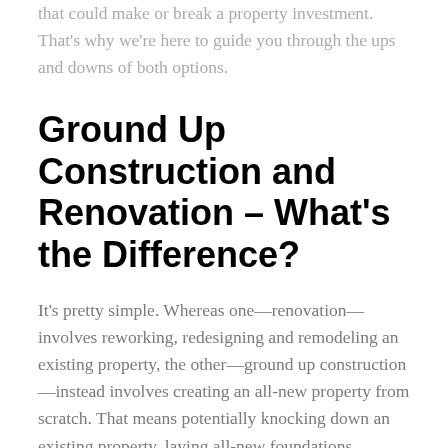that could make or break a property investment. That's why we're here to guide you through the ups and downs of both options.
Ground Up Construction and Renovation – What's the Difference?
It's pretty simple. Whereas one—renovation—involves reworking, redesigning and remodeling an existing property, the other—ground up construction—instead involves creating an all-new property from scratch. That means potentially knocking down an existing property, laying all-new foundations, handling the brickwork,